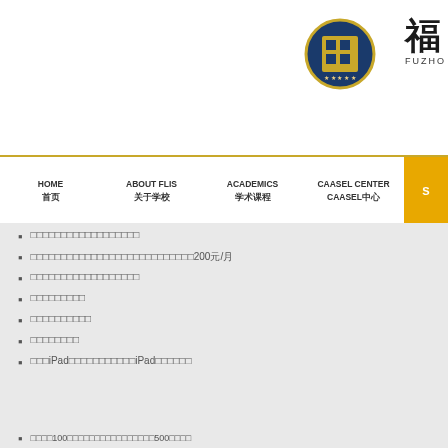[Figure (logo): Fuzhou school logo circle emblem and Chinese calligraphy text with FUZHOU subtitle]
HOME 首页 | ABOUT FLIS 关于学校 | ACADEMICS 学术课程 | CAASEL CENTER CAASEL中心 | S
□□□□□□□□□□□□□□□□□□
□□□□□□□□□□□□□□□□□□□□□□□□□□□200元/月
□□□□□□□□□□□□□□□□□□
□□□□□□□□□
□□□□□□□□□□
□□□□□□□□
□□□iPad□□□□□□□□□□□iPad□□□□□□
□□□□100□□□□□□□□□□□□□□□□□500□□□□